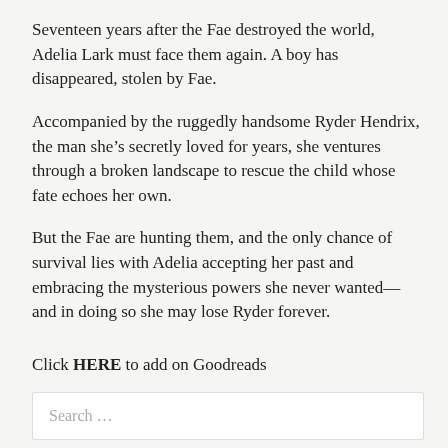Seventeen years after the Fae destroyed the world, Adelia Lark must face them again. A boy has disappeared, stolen by Fae.
Accompanied by the ruggedly handsome Ryder Hendrix, the man she’s secretly loved for years, she ventures through a broken landscape to rescue the child whose fate echoes her own.
But the Fae are hunting them, and the only chance of survival lies with Adelia accepting her past and embracing the mysterious powers she never wanted—and in doing so she may lose Ryder forever.
Click HERE to add on Goodreads
Click HERE for buy links